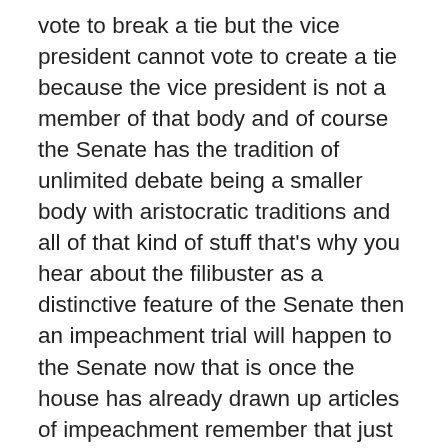vote to break a tie but the vice president cannot vote to create a tie because the vice president is not a member of that body and of course the Senate has the tradition of unlimited debate being a smaller body with aristocratic traditions and all of that kind of stuff that's why you hear about the filibuster as a distinctive feature of the Senate then an impeachment trial will happen to the Senate now that is once the house has already drawn up articles of impeachment remember that just because a president is impeached doesn't mean that they are removed from office so senatorial courtesy here this is a tradition in the Senate that when you hear senators refer to each other the Honourable gentleman from Massachusetts or the senator from Florida or something like that that they typically will not refer to each other by name even and of course the filibuster